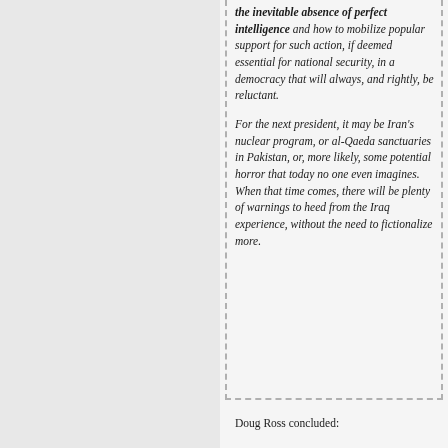the inevitable absence of perfect intelligence and how to mobilize popular support for such action, if deemed essential for national security, in a democracy that will always, and rightly, be reluctant. For the next president, it may be Iran's nuclear program, or al-Qaeda sanctuaries in Pakistan, or, more likely, some potential horror that today no one even imagines. When that time comes, there will be plenty of warnings to heed from the Iraq experience, without the need to fictionalize more.
Doug Ross concluded: